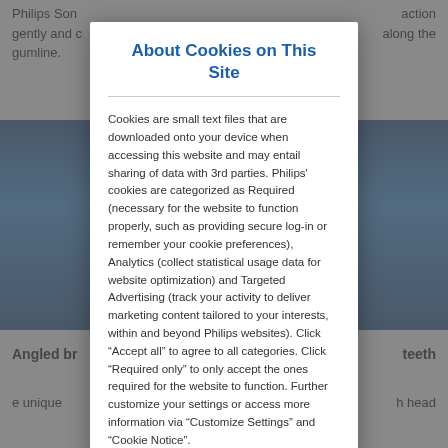Philips Son... action gently and c... along the gumline.
[Figure (photo): Product image strip with dark blue gradient background showing dental product]
Angled br... teeth
e unique... h head
About Cookies on This Site
Cookies are small text files that are downloaded onto your device when accessing this website and may entail sharing of data with 3rd parties. Philips' cookies are categorized as Required (necessary for the website to function properly, such as providing secure log-in or remember your cookie preferences), Analytics (collect statistical usage data for website optimization) and Targeted Advertising (track your activity to deliver marketing content tailored to your interests, within and beyond Philips websites). Click “Accept all” to agree to all categories. Click “Required only” to only accept the ones required for the website to function. Further customize your settings or access more information via “Customize Settings” and “Cookie Notice”.